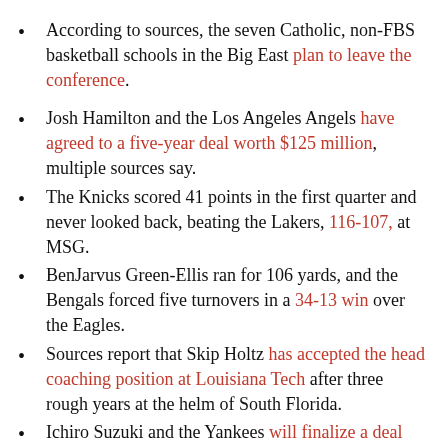According to sources, the seven Catholic, non-FBS basketball schools in the Big East plan to leave the conference.
Josh Hamilton and the Los Angeles Angels have agreed to a five-year deal worth $125 million, multiple sources say.
The Knicks scored 41 points in the first quarter and never looked back, beating the Lakers, 116-107, at MSG.
BenJarvus Green-Ellis ran for 106 yards, and the Bengals forced five turnovers in a 34-13 win over the Eagles.
Sources report that Skip Holtz has accepted the head coaching position at Louisiana Tech after three rough years at the helm of South Florida.
Ichiro Suzuki and the Yankees will finalize a deal worth $12-13 million for two years sometime Friday, sources close to the process say.
In Race...